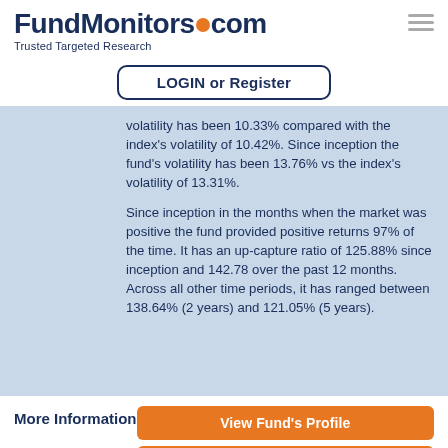FundMonitors.com — Trusted Targeted Research
LOGIN or Register
volatility has been 10.33% compared with the index's volatility of 10.42%. Since inception the fund's volatility has been 13.76% vs the index's volatility of 13.31%.

Since inception in the months when the market was positive the fund provided positive returns 97% of the time. It has an up-capture ratio of 125.88% since inception and 142.78 over the past 12 months. Across all other time periods, it has ranged between 138.64% (2 years) and 121.05% (5 years).
More Information
View Fund's Profile
View Manager's Report
AFM Research Reports